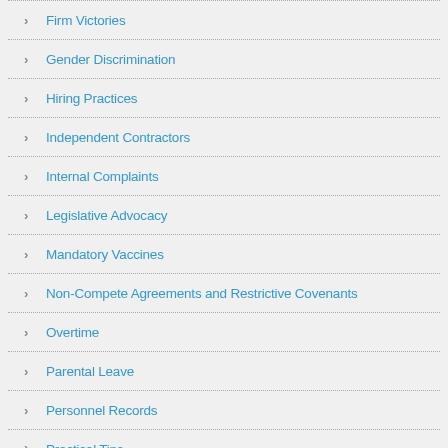Firm Victories
Gender Discrimination
Hiring Practices
Independent Contractors
Internal Complaints
Legislative Advocacy
Mandatory Vaccines
Non-Compete Agreements and Restrictive Covenants
Overtime
Parental Leave
Personnel Records
Practical Tips